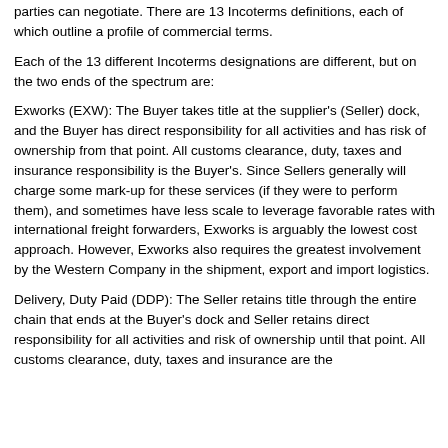parties can negotiate. There are 13 Incoterms definitions, each of which outline a profile of commercial terms.
Each of the 13 different Incoterms designations are different, but on the two ends of the spectrum are:
Exworks (EXW): The Buyer takes title at the supplier's (Seller) dock, and the Buyer has direct responsibility for all activities and has risk of ownership from that point. All customs clearance, duty, taxes and insurance responsibility is the Buyer's. Since Sellers generally will charge some mark-up for these services (if they were to perform them), and sometimes have less scale to leverage favorable rates with international freight forwarders, Exworks is arguably the lowest cost approach. However, Exworks also requires the greatest involvement by the Western Company in the shipment, export and import logistics.
Delivery, Duty Paid (DDP): The Seller retains title through the entire chain that ends at the Buyer's dock and Seller retains direct responsibility for all activities and risk of ownership until that point. All customs clearance, duty, taxes and insurance are the